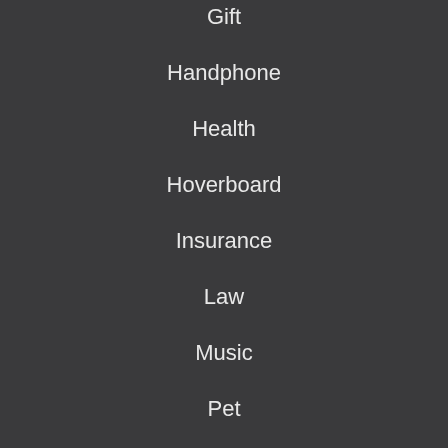Gift
Handphone
Health
Hoverboard
Insurance
Law
Music
Pet
Shopping
Social Media
Software
Sports
Technology